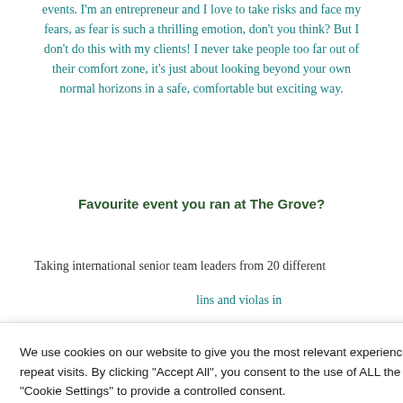events. I'm an entrepreneur and I love to take risks and face my fears, as fear is such a thrilling emotion, don't you think? But I don't do this with my clients! I never take people too far out of their comfort zone, it's just about looking beyond your own normal horizons in a safe, comfortable but exciting way.
Favourite event you ran at The Grove?
Taking international senior team leaders from 20 different
lins and violas in
w factor to your
We use cookies on our website to give you the most relevant experience by remembering your preferences and repeat visits. By clicking "Accept All", you consent to the use of ALL the cookies. However, you may visit "Cookie Settings" to provide a controlled consent.
Cookie Settings | Accept All
letter
ake a Booking